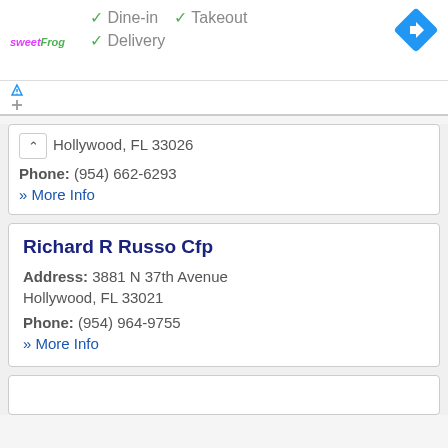[Figure (logo): sweetFrog logo in pink and green italic text]
✓ Dine-in  ✓ Takeout
✓ Delivery
[Figure (other): Blue diamond navigation/directions icon with white arrow]
Hollywood, FL 33026
Phone: (954) 662-6293
» More Info
Richard R Russo Cfp
Address: 3881 N 37th Avenue
Hollywood, FL 33021
Phone: (954) 964-9755
» More Info